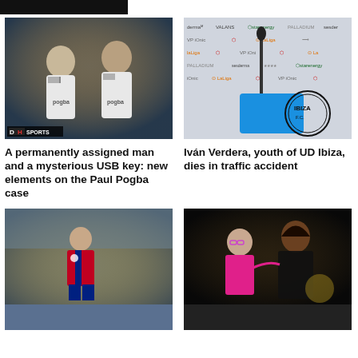[Figure (photo): Two football players in white Pogba jerseys celebrating]
[Figure (photo): Press conference backdrop with LaLiga, Ibiza, and sponsor logos]
A permanently assigned man and a mysterious USB key: new elements on the Paul Pogba case
Iván Verdera, youth of UD Ibiza, dies in traffic accident
[Figure (photo): FC Barcelona player in red and blue kit on stadium pitch]
[Figure (photo): Two women embracing, one in pink top, one in dark athletic wear]